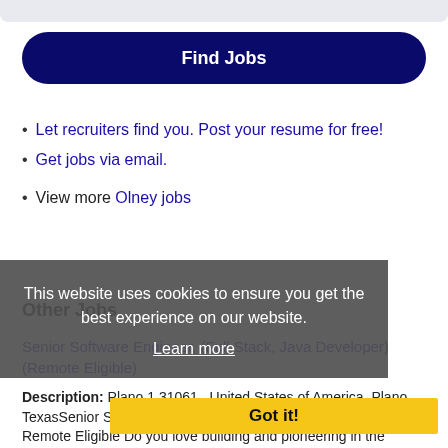Let recruiters find you. Post your resume for free!
Get jobs via email.
View more Olney jobs
Other Jobs
This website uses cookies to ensure you get the best experience on our website.
Learn more
Got it!
Senior Software Engineer, (Full Stack, Java Developer) (Remote Eligible)
Description: Plano 1 31061 , United States of America, Plano, TexasSenior Software Engineer, Full Stack, Java Developer Remote Eligible Do you love building and pioneering in the technology